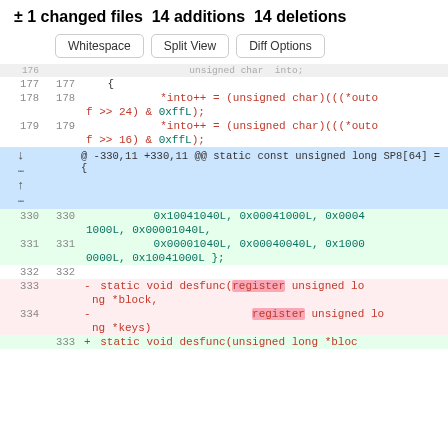± 1 changed files 14 additions 14 deletions
Whitespace | Split View | Diff Options
[Figure (screenshot): Code diff showing changes to a C file. Lines 177-334 of a diff view showing additions and deletions including changes to desfunc() function removing 'register' keyword.]